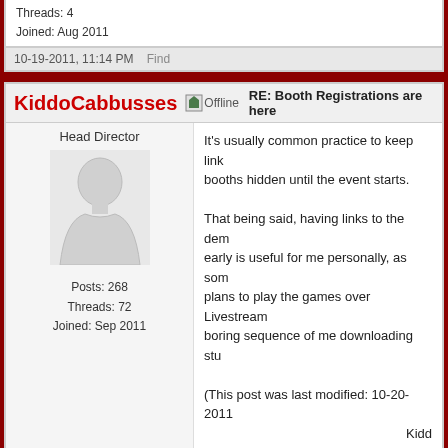Threads: 4
Joined: Aug 2011
10-19-2011, 11:14 PM    Find
KiddoCabbusses [Offline] RE: Booth Registrations are here
Head Director
Posts: 268
Threads: 72
Joined: Sep 2011
It's usually common practice to keep links to the booths hidden until the event starts.

That being said, having links to the demos early is useful for me personally, as some plans to play the games over Livestream boring sequence of me downloading stuf…

(This post was last modified: 10-20-2011… Kidd…
10-20-2011, 12:41 AM    Find
Kritter [Offline] RE: Booth Registrations are here
Member
I probably won't get time to create a booth this year to get my game DONE, but of course the last few w… seen everything thrown at me and I haven't had tim… trailer, booth or anything.